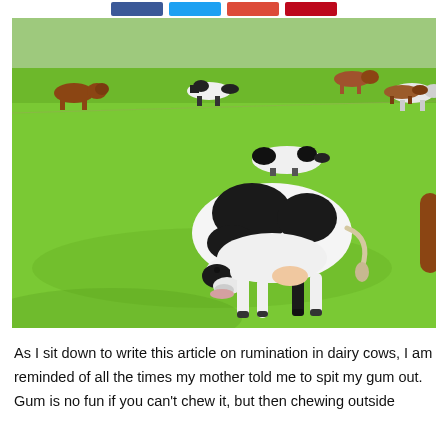[Figure (photo): A herd of dairy cows (black-and-white Holstein and brown cows) grazing on a bright green grass field. A large black-and-white cow is prominently in the foreground, head down grazing. Several other cows visible in the background across the vivid green pasture.]
As I sit down to write this article on rumination in dairy cows, I am reminded of all the times my mother told me to spit my gum out. Gum is no fun if you can't chew it, but then chewing outside